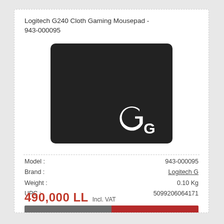Logitech G240 Cloth Gaming Mousepad - 943-000095
[Figure (photo): Logitech G240 Cloth Gaming Mousepad - black rectangular mousepad with Logitech G logo in white at bottom right corner]
| Model : | 943-000095 |
| Brand : | Logitech G |
| Weight : | 0.10 Kg |
| UPC : | 5099206064171 |
490,000 LL  Incl. VAT
Add To Cart   Details